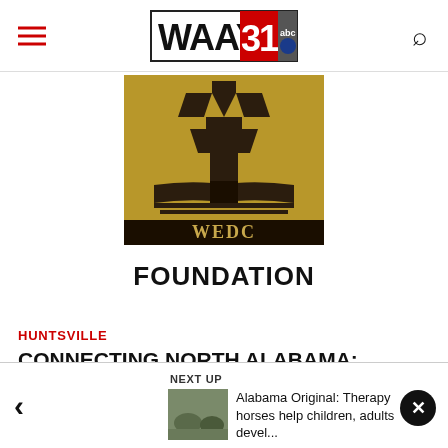WAAY 31 ABC — navigation bar with hamburger menu and search icon
[Figure (logo): WEDC Foundation logo: gold rectangle with stylized torch/flame above open book, black banner reading WEDC, text FOUNDATION below in bold black]
HUNTSVILLE
CONNECTING NORTH ALABAMA: Women's Economic Development Council
NEXT UP
[Figure (photo): Thumbnail photo of therapy horses with children]
Alabama Original: Therapy horses help children, adults devel...